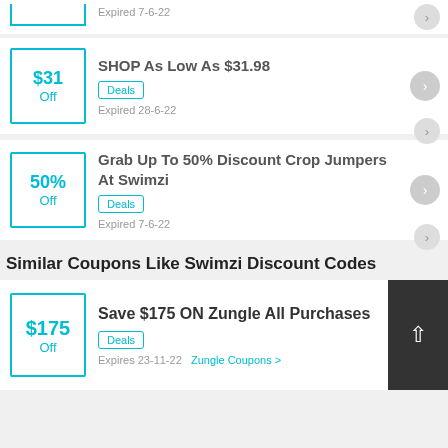Expired 7-6-22
SHOP As Low As $31.98
Deals
Expired 28-6-22
Grab Up To 50% Discount Crop Jumpers At Swimzi
Deals
Expired 7-6-22
Similar Coupons Like Swimzi Discount Codes
Save $175 ON Zungle All Purchases
Deals
Expires 23-11-22
Zungle Coupons >